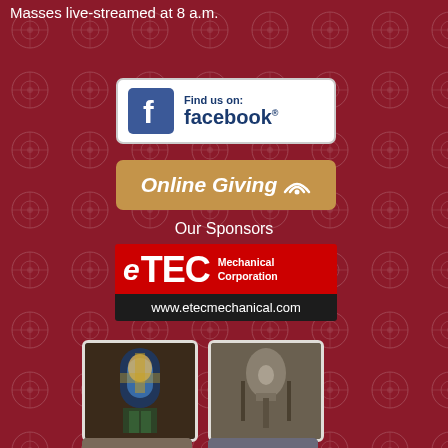Masses live-streamed at 8 a.m.
[Figure (logo): Facebook 'Find us on: facebook' button with Facebook logo icon, white background with rounded border]
[Figure (infographic): Online Giving button with WiFi/RSS icon, gold/tan background with white italic text]
Our Sponsors
[Figure (logo): eTEC Mechanical Corporation logo in red with white text, followed by dark bar showing www.etecmechanical.com]
[Figure (photo): Stained glass window image showing a saint figure]
[Figure (photo): Photo of church bells or similar church equipment]
[Figure (photo): Partial photo at bottom left, partially cut off]
[Figure (photo): Partial photo at bottom right, partially cut off]